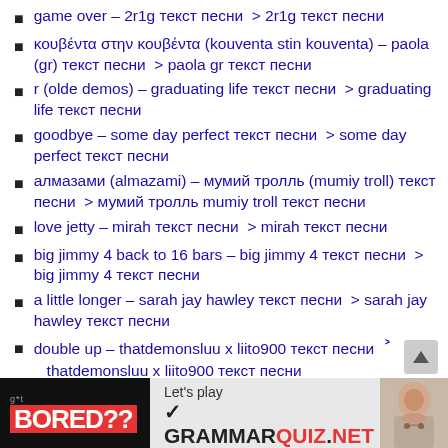game over – 2r1g текст песни  > 2r1g текст песни
κουβέντα στην κουβέντα (kouventa stin kouventa) – paola (gr) текст песни  > paola gr текст песни
r (olde demos) – graduating life текст песни  > graduating life текст песни
goodbye – some day perfect текст песни  > some day perfect текст песни
алмазами (almazami) – мумий тролль (mumiy troll) текст песни  > мумий тролль mumiy troll текст песни
love jetty – mirah текст песни  > mirah текст песни
big jimmy 4 back to 16 bars – big jimmy 4 текст песни  > big jimmy 4 текст песни
a little longer – sarah jay hawley текст песни  > sarah jay hawley текст песни
double up – thatdemonsluu x liito900 текст песни  > thatdemonsluu x liito900 текст песни
[Figure (infographic): Advertisement banner: BORED?? Let's play GRAMMARQUIZ.NET with a photo of a person on the right]